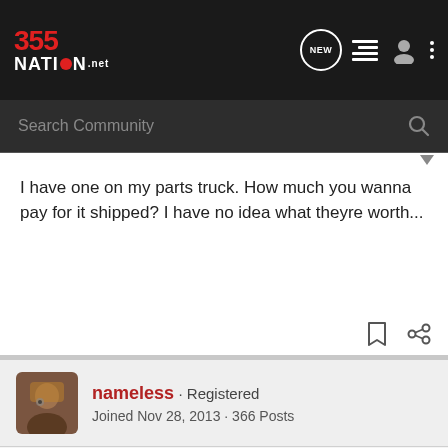355 NATION.net
Search Community
I have one on my parts truck. How much you wanna pay for it shipped? I have no idea what theyre worth...
nameless · Registered
Joined Nov 28, 2013 · 366 Posts
Discussion Starter · #7 · Feb 21, 2014
I have no idea what they go for eithier haha. I'll start it off with a